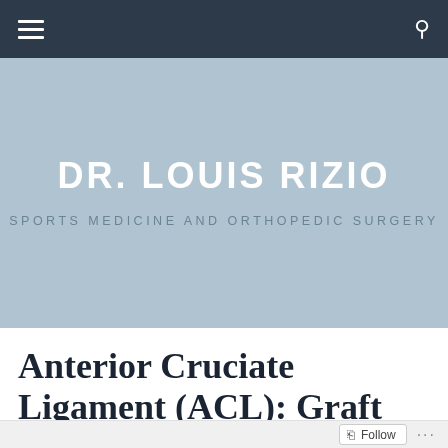DR. LOUIS RIZIO — SPORTS MEDICINE AND ORTHOPEDIC SURGERY
DR. LOUIS RIZIO
SPORTS MEDICINE AND ORTHOPEDIC SURGERY
Anterior Cruciate Ligament (ACL): Graft Choices